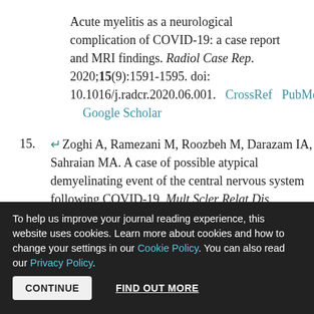Acute myelitis as a neurological complication of COVID-19: a case report and MRI findings. Radiol Case Rep. 2020;15(9):1591-1595. doi: 10.1016/j.radcr.2020.06.001.  CrossRef  PubMed  Google Scholar
15. ↵Zoghi A, Ramezani M, Roozbeh M, Darazam IA, Sahraian MA. A case of possible atypical demyelinating event of the central nervous system following COVID-19. Mult Scler Relat Dis. 2020;44:102324. doi: 10.1016/j.msard.2020.102324
To help us improve your journal reading experience, this website uses cookies. Learn more about cookies and how to change your settings in our Cookie Policy. You can also read our Privacy Policy.